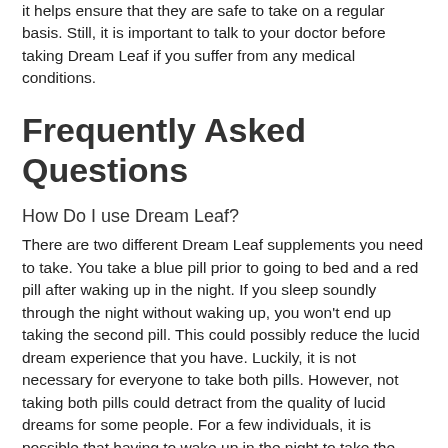it helps ensure that they are safe to take on a regular basis. Still, it is important to talk to your doctor before taking Dream Leaf if you suffer from any medical conditions.
Frequently Asked Questions
How Do I use Dream Leaf?
There are two different Dream Leaf supplements you need to take. You take a blue pill prior to going to bed and a red pill after waking up in the night. If you sleep soundly through the night without waking up, you won't end up taking the second pill. This could possibly reduce the lucid dream experience that you have. Luckily, it is not necessary for everyone to take both pills. However, not taking both pills could detract from the quality of lucid dreams for some people. For a few individuals, it is possible that having to wake up in the night to take the